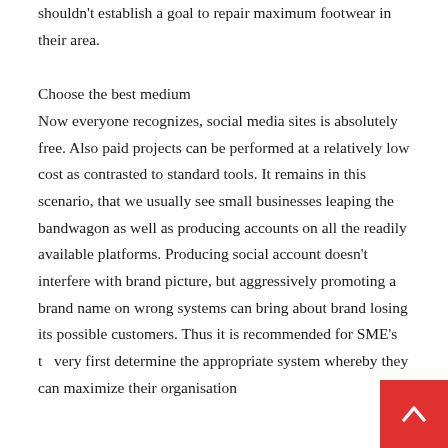shouldn't establish a goal to repair maximum footwear in their area.
Choose the best medium
Now everyone recognizes, social media sites is absolutely free. Also paid projects can be performed at a relatively low cost as contrasted to standard tools. It remains in this scenario, that we usually see small businesses leaping the bandwagon as well as producing accounts on all the readily available platforms. Producing social account doesn't interfere with brand picture, but aggressively promoting a brand name on wrong systems can bring about brand losing its possible customers. Thus it is recommended for SME's to very first determine the appropriate system whereby they can maximize their organisation